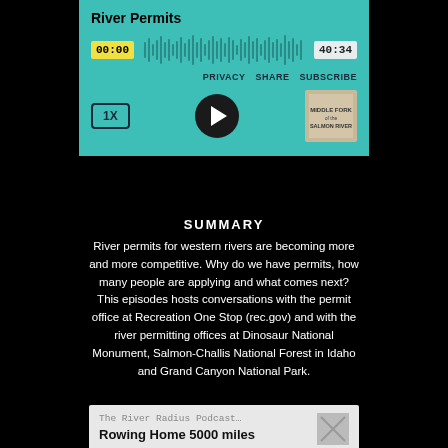River Permits
[Figure (screenshot): Podcast audio player with teal background showing waveform, timestamps 00:00 and 40:34, speed button 1X, play button, and podcast thumbnail image]
SUMMARY
River permits for western rivers are becoming more and more competitive. Why do we have permits, how many people are applying and what comes next? This episodes hosts conversations with the permit office at Recreation One Stop (rec.gov) and with the river permitting offices at Dinosaur National Monument, Salmon-Challis National Forest in Idaho and Grand Canyon National Park.
The River Radius Podcast…
Rowing Home 5000 miles